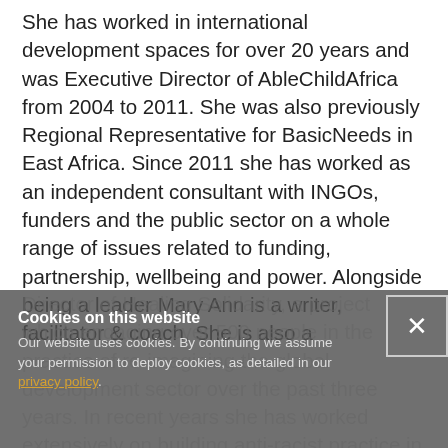She has worked in international development spaces for over 20 years and was Executive Director of AbleChildAfrica from 2004 to 2011. She was also previously Regional Representative for BasicNeeds in East Africa. Since 2011 she has worked as an independent consultant with INGOs, funders and the public sector on a whole range of issues related to funding, partnership, wellbeing and power. Alongside being a leader Mary Ann is a writer, facilitator & coach. She is also a Director of Healing Solidarity, a project which [engaging over 500] people in the practice of re-imagining the global development sector over the past three years. In recent years she has worked extensively on building anti-racist practice in international...
Cookies on this website
Our website uses cookies. By continuing we assume your permission to deploy cookies, as detailed in our privacy policy.